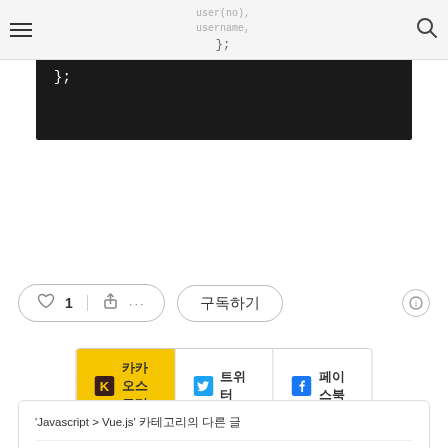username
[Figure (screenshot): Code block showing JavaScript object literal with closing braces: '    }' and '};' on a dark background]
♡ 1  [share]  ···   구독하기   ℹ
카카오스토리  트위터  페이스북
'Javascript > Vue.js' 카테고리의 다른 글